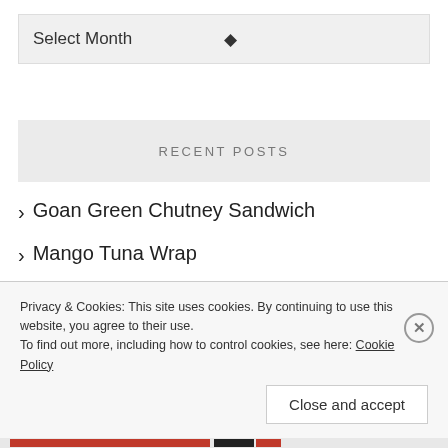Select Month
RECENT POSTS
Goan Green Chutney Sandwich
Mango Tuna Wrap
Mango Bebinca
Moringa Oleifera Chicken Curry/ Mashinha Panna
Privacy & Cookies: This site uses cookies. By continuing to use this website, you agree to their use. To find out more, including how to control cookies, see here: Cookie Policy
Close and accept